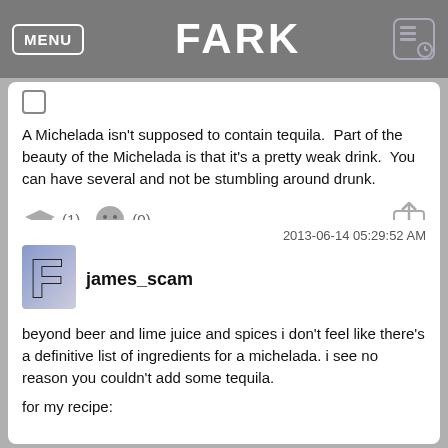MENU | FARK
[Figure (other): Checkbox/square icon in top-left of first comment card]
A Michelada isn't supposed to contain tequila.  Part of the beauty of the Michelada is that it's a pretty weak drink.  You can have several and not be stumbling around drunk.
[Figure (other): Action bar with graduation cap icon (1), smiley face icon (0), and share icon]
2013-06-14 05:29:52 AM
james_scam
beyond beer and lime juice and spices i don't feel like there's a definitive list of ingredients for a michelada. i see no reason you couldn't add some tequila.
for my recipe: